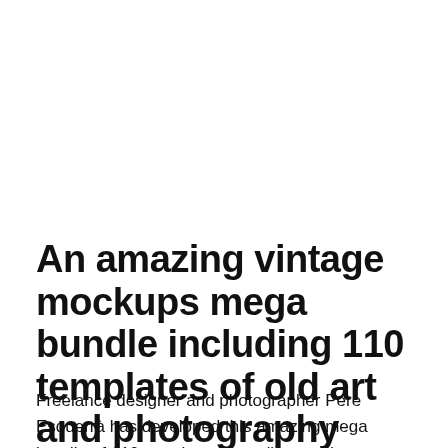An amazing vintage mockups mega bundle including 110 templates of old art and photography equipment.
Freelance designer and photographer Pere Esquerrà has developed this amazing mega bundle of 110 templates from diverse photo shoots in high resolution. The bundle includes